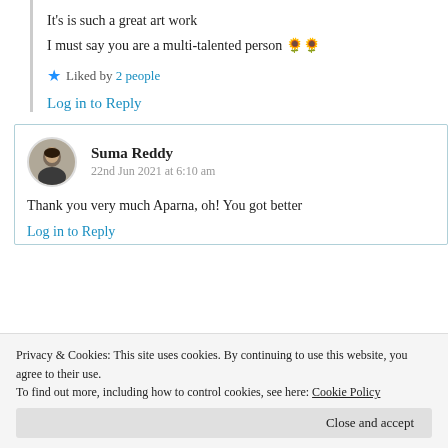It's is such a great art work
I must say you are a multi-talented person 🌻🌻
★ Liked by 2 people
Log in to Reply
Suma Reddy
22nd Jun 2021 at 6:10 am
Thank you very much Aparna, oh! You got better
Log in to Reply
Privacy & Cookies: This site uses cookies. By continuing to use this website, you agree to their use.
To find out more, including how to control cookies, see here: Cookie Policy
Close and accept